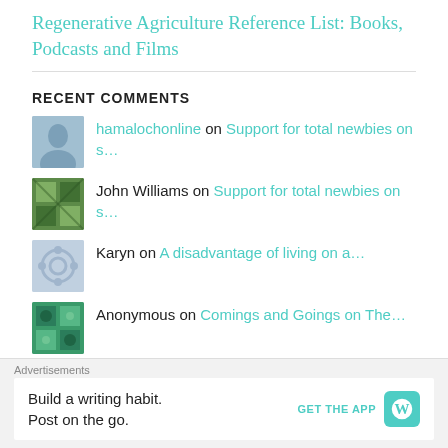Regenerative Agriculture Reference List: Books, Podcasts and Films
RECENT COMMENTS
hamalochonline on Support for total newbies on s…
John Williams on Support for total newbies on s…
Karyn on A disadvantage of living on a…
Anonymous on Comings and Goings on The…
Advertisements
Build a writing habit. Post on the go. GET THE APP